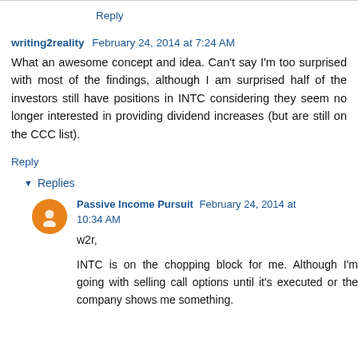Reply
writing2reality  February 24, 2014 at 7:24 AM
What an awesome concept and idea. Can't say I'm too surprised with most of the findings, although I am surprised half of the investors still have positions in INTC considering they seem no longer interested in providing dividend increases (but are still on the CCC list).
Reply
▼ Replies
Passive Income Pursuit  February 24, 2014 at 10:34 AM
w2r,

INTC is on the chopping block for me. Although I'm going with selling call options until it's executed or the company shows me something.